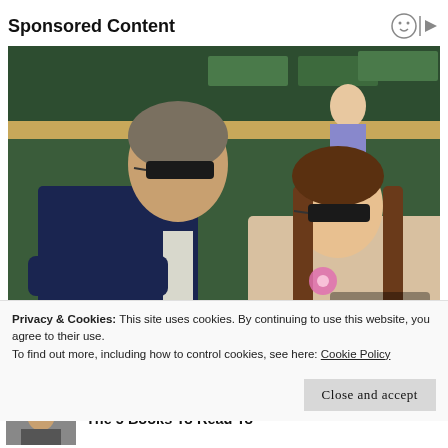Sponsored Content
[Figure (photo): Two people seated in stadium stands. An older man with grey hair and sunglasses wearing a dark navy suit, and a young woman with long brown hair and sunglasses wearing a beige/tan lace top with a pink flower accessory. Green stadium seats visible in the background.]
Privacy & Cookies: This site uses cookies. By continuing to use this website, you agree to their use.
To find out more, including how to control cookies, see here: Cookie Policy
Close and accept
The 5 Books To Read To